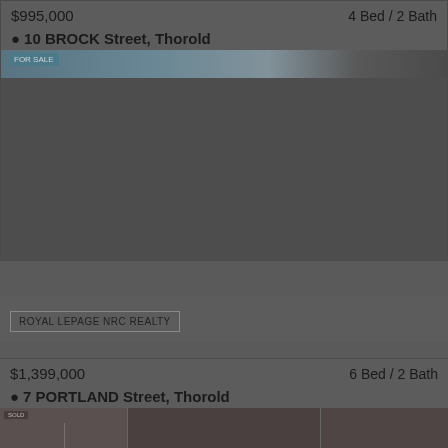$995,000
4 Bed / 2 Bath
10 BROCK Street, Thorold
[Figure (photo): Property photo strip for 10 BROCK Street, Thorold - partially visible outdoor/architectural photo]
ROYAL LEPAGE NRC REALTY
$1,399,000
6 Bed / 2 Bath
7 PORTLAND Street, Thorold
[Figure (photo): Property interior photos for 7 PORTLAND Street, Thorold - showing interior rooms]